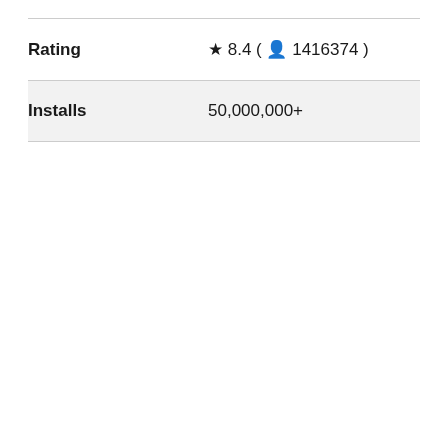| Field | Value |
| --- | --- |
| Rating | ★ 8.4 ( 👤 1416374 ) |
| Installs | 50,000,000+ |